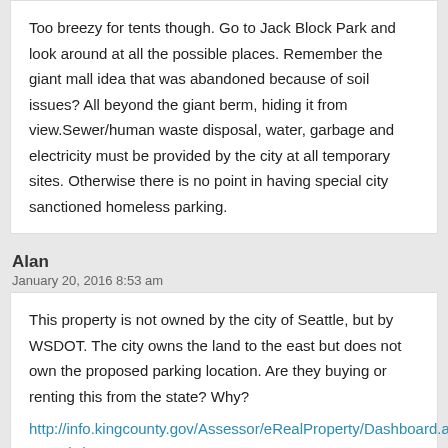Too breezy for tents though. Go to Jack Block Park and look around at all the possible places. Remember the giant mall idea that was abandoned because of soil issues? All beyond the giant berm, hiding it from view.Sewer/human waste disposal, water, garbage and electricity must be provided by the city at all temporary sites. Otherwise there is no point in having special city sanctioned homeless parking.
Alan
January 20, 2016 8:53 am
This property is not owned by the city of Seattle, but by WSDOT. The city owns the land to the east but does not own the proposed parking location. Are they buying or renting this from the state? Why?
http://info.kingcounty.gov/Assessor/eRealProperty/Dashboard.aspx?ParcelNbr=5367202525
joel
January 20, 2016 8:58 am
it was said in another comment or maybe another article the